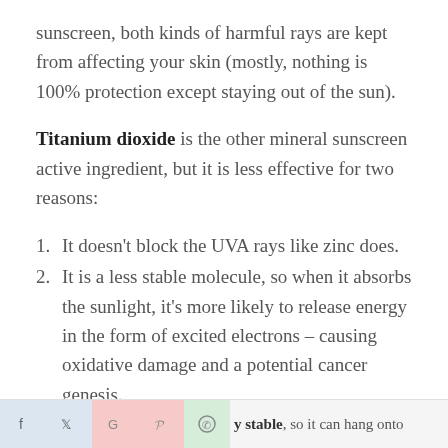sunscreen, both kinds of harmful rays are kept from affecting your skin (mostly, nothing is 100% protection except staying out of the sun).
Titanium dioxide is the other mineral sunscreen active ingredient, but it is less effective for two reasons:
1. It doesn’t block the UVA rays like zinc does.
2. It is a less stable molecule, so when it absorbs the sunlight, it’s more likely to release energy in the form of excited electrons – causing oxidative damage and a potential cancer genesis.
y stable, so it can hang onto